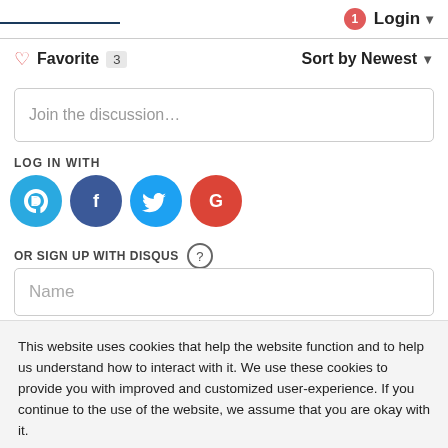Login
Favorite 3   Sort by Newest
Join the discussion…
LOG IN WITH
[Figure (infographic): Social login icons: Disqus (D, blue), Facebook (F, dark blue), Twitter (bird, light blue), Google (G, red)]
OR SIGN UP WITH DISQUS ?
Name
This website uses cookies that help the website function and to help us understand how to interact with it. We use these cookies to provide you with improved and customized user-experience. If you continue to the use of the website, we assume that you are okay with it.
Got It